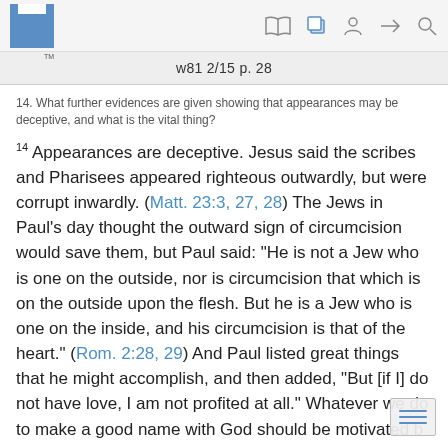w81 2/15 p. 28
14. What further evidences are given showing that appearances may be deceptive, and what is the vital thing?
14 Appearances are deceptive. Jesus said the scribes and Pharisees appeared righteous outwardly, but were corrupt inwardly. (Matt. 23:3, 27, 28) The Jews in Paul’s day thought the outward sign of circumcision would save them, but Paul said: “He is not a Jew who is one on the outside, nor is circumcision that which is on the outside upon the flesh. But he is a Jew who is one on the inside, and his circumcision is that of the heart.” (Rom. 2:28, 29) And Paul listed great things that he might accomplish, and then added, “But [if I] do not have love, I am not profited at all.” Whatever we do to make a good name with God should be motivated b